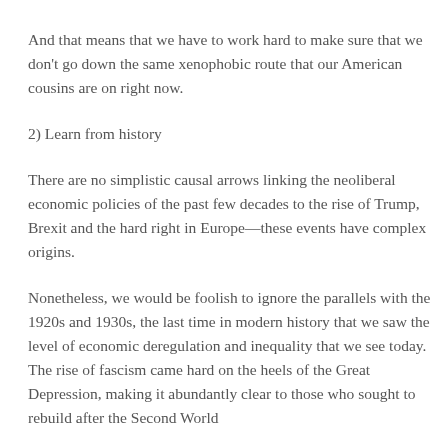And that means that we have to work hard to make sure that we don't go down the same xenophobic route that our American cousins are on right now.
2) Learn from history
There are no simplistic causal arrows linking the neoliberal economic policies of the past few decades to the rise of Trump, Brexit and the hard right in Europe—these events have complex origins.
Nonetheless, we would be foolish to ignore the parallels with the 1920s and 1930s, the last time in modern history that we saw the level of economic deregulation and inequality that we see today. The rise of fascism came hard on the heels of the Great Depression, making it abundantly clear to those who sought to rebuild after the Second World